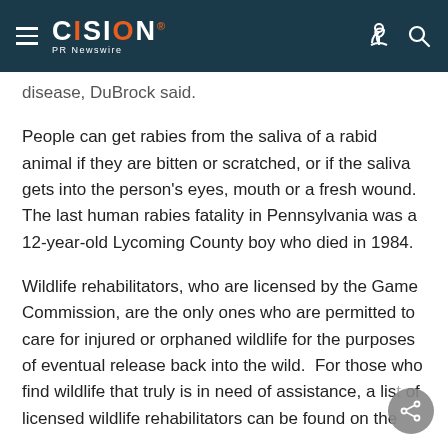CISION PR Newswire
disease, DuBrock said.
People can get rabies from the saliva of a rabid animal if they are bitten or scratched, or if the saliva gets into the person's eyes, mouth or a fresh wound. The last human rabies fatality in Pennsylvania was a 12-year-old Lycoming County boy who died in 1984.
Wildlife rehabilitators, who are licensed by the Game Commission, are the only ones who are permitted to care for injured or orphaned wildlife for the purposes of eventual release back into the wild.  For those who find wildlife that truly is in need of assistance, a list of licensed wildlife rehabilitators can be found on the